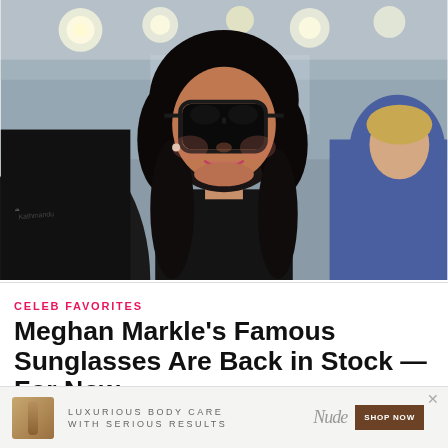[Figure (photo): Meghan Markle wearing large black sunglasses and black clothing, with long dark hair, smiling. Other people visible on either side. Indoor/outdoor setting with blurred lights in background.]
CELEB FAVORITES
Meghan Markle's Famous Sunglasses Are Back in Stock — For Now
[Figure (infographic): Advertisement banner: 'LUXURIOUS BODY CARE WITH SERIOUS RESULTS' with Nude brand logo and 'SHOP NOW' button, showing a beauty product image.]